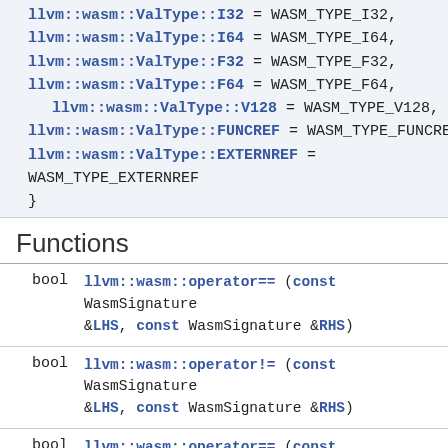llvm::wasm::ValType::I32 = WASM_TYPE_I32, llvm::wasm::ValType::I64 = WASM_TYPE_I64, llvm::wasm::ValType::F32 = WASM_TYPE_F32, llvm::wasm::ValType::F64 = WASM_TYPE_F64, llvm::wasm::ValType::V128 = WASM_TYPE_V128, llvm::wasm::ValType::FUNCREF = WASM_TYPE_FUNCREF, llvm::wasm::ValType::EXTERNREF = WASM_TYPE_EXTERNREF }
Functions
|  |  |
| --- | --- |
| bool | llvm::wasm::operator== (const WasmSignature &LHS, const WasmSignature &RHS) |
| bool | llvm::wasm::operator!= (const WasmSignature &LHS, const WasmSignature &RHS) |
| bool | llvm::wasm::operator== (const WasmGlobalType &LHS, const WasmGlobalType &RHS) |
| bool | llvm::wasm::operator!= (const WasmGlobalType &LHS, const |